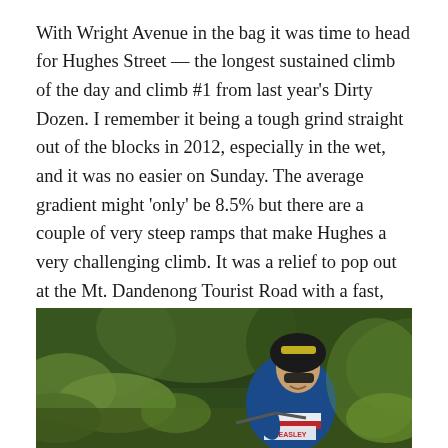With Wright Avenue in the bag it was time to head for Hughes Street — the longest sustained climb of the day and climb #1 from last year's Dirty Dozen. I remember it being a tough grind straight out of the blocks in 2012, especially in the wet, and it was no easier on Sunday. The average gradient might 'only' be 8.5% but there are a couple of very steep ramps that make Hughes a very challenging climb. It was a relief to pop out at the Mt. Dandenong Tourist Road with a fast, enjoyable descent to look forward to. Click here to see the video of this climb.
[Figure (photo): A female cyclist wearing a blue, red and white jersey with 'BEASLEY' text, black sunglasses, and a black and yellow helmet, riding a bicycle on a forest path surrounded by green ferns and trees.]